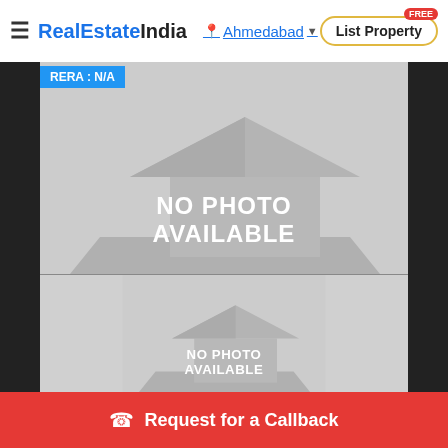RealEstateIndia | Ahmedabad | List Property FREE
RERA : N/A
[Figure (photo): No photo available placeholder image - top listing]
[Figure (photo): No photo available placeholder image - bottom listing]
Request for a Callback